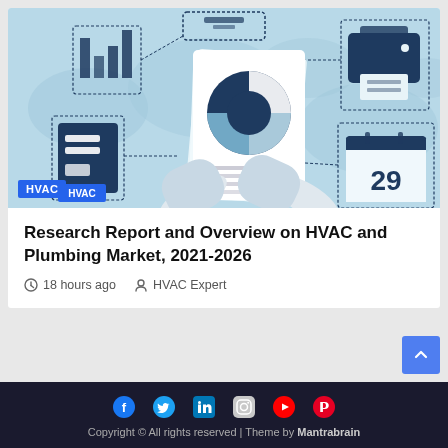[Figure (illustration): HVAC market research report cover illustration: hands holding a report with a pie chart, surrounded by icons including a bar chart, document, printer, calendar showing '29', on a light blue world map background. An 'HVAC' badge is in the bottom-left corner.]
Research Report and Overview on HVAC and Plumbing Market, 2021-2026
18 hours ago   HVAC Expert
Copyright © All rights reserved | Theme by Mantrabrain